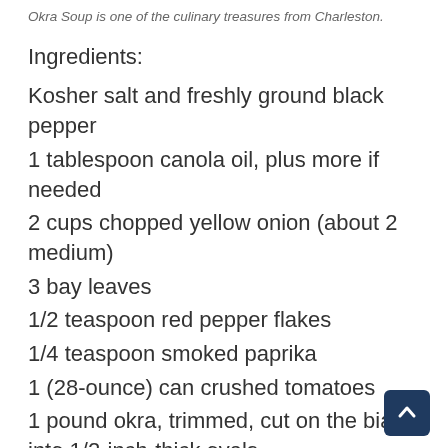Okra Soup is one of the culinary treasures from Charleston.
Ingredients:
Kosher salt and freshly ground black pepper
1 tablespoon canola oil, plus more if needed
2 cups chopped yellow onion (about 2 medium)
3 bay leaves
1/2 teaspoon red pepper flakes
1/4 teaspoon smoked paprika
1 (28-ounce) can crushed tomatoes
1 pound okra, trimmed, cut on the bias into 1/2-inch-thick ovals
Season beef and marrow bone with 3/4 teaspoon salt and 1/2 teaspoon black pepper,
onion, bay leaves, red pepper flakes, paprika 1/4